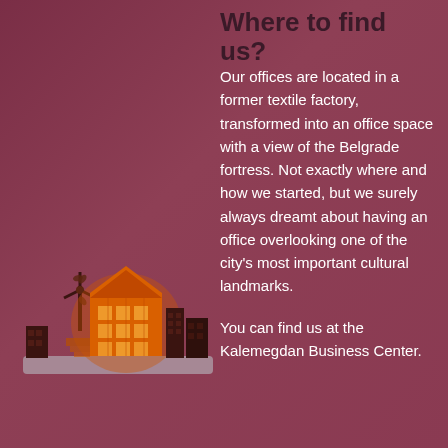Where to find us?
Our offices are located in a former textile factory, transformed into an office space with a view of the Belgrade fortress. Not exactly where and how we started, but we surely always dreamt about having an office overlooking one of the city's most important cultural landmarks.
You can find us at the Kalemegdan Business Center.
[Figure (illustration): Illustrated cityscape at night with a glowing orange factory/warehouse building in the center, smaller dark buildings on sides, a windmill on the left, and a light gray ground platform.]